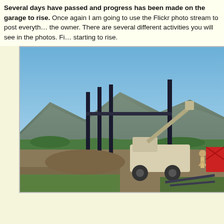Several days have passed and progress has been made on the garage to rise. Once again I am going to use the Flickr photo stream to post everything for the owner. There are several different activities you will see in the photos. Finally starting to rise.
[Figure (photo): Construction site showing steel framing columns being erected with a telescoping boom lift/telehandler vehicle. Workers visible on site. Background shows mountains and clear blue sky with green vegetation.]